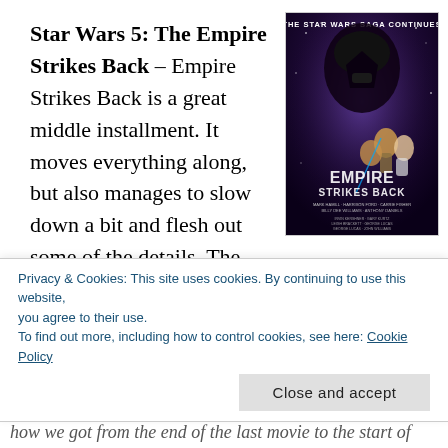Star Wars 5: The Empire Strikes Back – Empire Strikes Back is a great middle installment. It moves everything along, but also manages to slow down a bit and flesh out some of the details. The decision to jump the story forward
[Figure (photo): Movie poster for Star Wars: The Empire Strikes Back showing Darth Vader, Luke Skywalker, Princess Leia, Han Solo, and other characters with text 'THE STAR WARS SAGA CONTINUES' at the top and 'EMPIRE STRIKES BACK' title at the bottom.]
Privacy & Cookies: This site uses cookies. By continuing to use this website, you agree to their use.
To find out more, including how to control cookies, see here: Cookie Policy
Close and accept
how we got from the end of the last movie to the start of